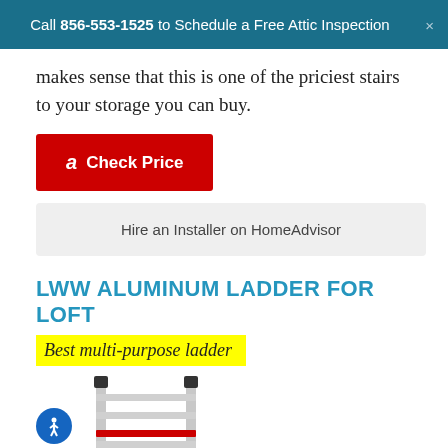Call 856-553-1525 to Schedule a Free Attic Inspection
makes sense that this is one of the priciest stairs to your storage you can buy.
[Figure (other): Red Amazon 'Check Price' button with Amazon logo icon]
[Figure (other): Light grey 'Hire an Installer on HomeAdvisor' button]
LWW ALUMINUM LADDER FOR LOFT
Best multi-purpose ladder
[Figure (photo): Partial image of a telescoping aluminum ladder with silver rungs and a red accent band near the bottom, partially visible at the bottom of the page]